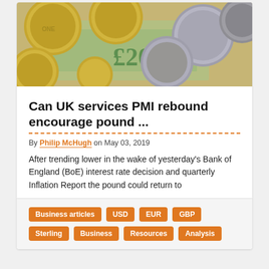[Figure (photo): Close-up photo of British coins (pound coins) and a £20 banknote]
Can UK services PMI rebound encourage pound ...
By Philip McHugh on May 03, 2019
After trending lower in the wake of yesterday's Bank of England (BoE) interest rate decision and quarterly Inflation Report the pound could return to
Business articles
USD
EUR
GBP
Sterling
Business
Resources
Analysis